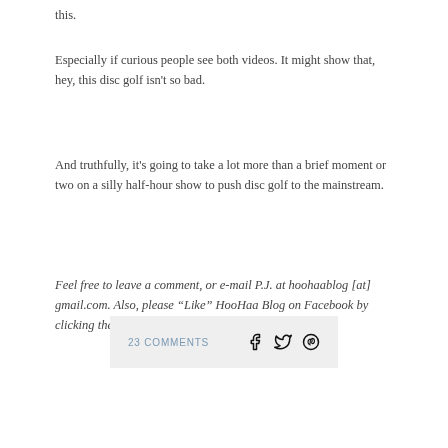this.
Especially if curious people see both videos. It might show that, hey, this disc golf isn't so bad.
And truthfully, it's going to take a lot more than a brief moment or two on a silly half-hour show to push disc golf to the mainstream.
Feel free to leave a comment, or e-mail P.J. at hoohaablog [at] gmail.com. Also, please “Like” HooHaa Blog on Facebook by clicking the button on the right side of the page!
23 COMMENTS